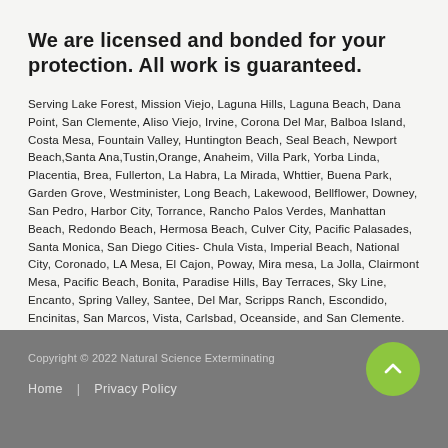We are licensed and bonded for your protection. All work is guaranteed.
Serving Lake Forest, Mission Viejo, Laguna Hills, Laguna Beach, Dana Point, San Clemente, Aliso Viejo, Irvine, Corona Del Mar, Balboa Island, Costa Mesa, Fountain Valley, Huntington Beach, Seal Beach, Newport Beach,Santa Ana,Tustin,Orange, Anaheim, Villa Park, Yorba Linda, Placentia, Brea, Fullerton, La Habra, La Mirada, Whttier, Buena Park, Garden Grove, Westminister, Long Beach, Lakewood, Bellflower, Downey, San Pedro, Harbor City, Torrance, Rancho Palos Verdes, Manhattan Beach, Redondo Beach, Hermosa Beach, Culver City, Pacific Palasades, Santa Monica, San Diego Cities- Chula Vista, Imperial Beach, National City, Coronado, LA Mesa, El Cajon, Poway, Mira mesa, La Jolla, Clairmont Mesa, Pacific Beach, Bonita, Paradise Hills, Bay Terraces, Sky Line, Encanto, Spring Valley, Santee, Del Mar, Scripps Ranch, Escondido, Encinitas, San Marcos, Vista, Carlsbad, Oceanside, and San Clemente.
Copyright © 2022 Natural Science Exterminating
Home  |  Privacy Policy